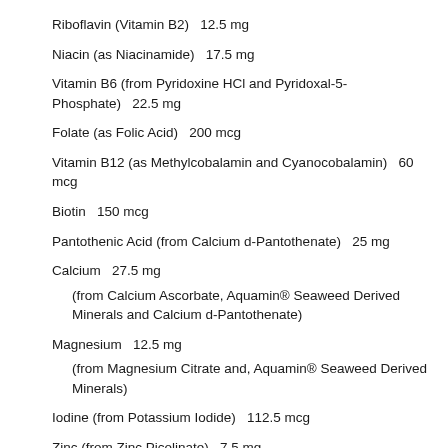Riboflavin (Vitamin B2)   12.5 mg
Niacin (as Niacinamide)   17.5 mg
Vitamin B6 (from Pyridoxine HCl and Pyridoxal-5-Phosphate)   22.5 mg
Folate (as Folic Acid)   200 mcg
Vitamin B12 (as Methylcobalamin and Cyanocobalamin)   60 mcg
Biotin   150 mcg
Pantothenic Acid (from Calcium d-Pantothenate)   25 mg
Calcium   27.5 mg
(from Calcium Ascorbate, Aquamin® Seaweed Derived Minerals and Calcium d-Pantothenate)
Magnesium   12.5 mg
(from Magnesium Citrate and, Aquamin® Seaweed Derived Minerals)
Iodine (from Potassium Iodide)   112.5 mcg
Zinc (from Zinc Picolinate)   7.5 mg
Selenium (from Selenium Glycinate)   100 mcg
Copper (from Copper Bisglycinate) (TRAACS®)   250 mcg
Manganese (from Manganese Bisglycinate) (TRAACS®)   1 mg
Chromium (from Chromium Nicotinate Glycinate)   60 mcg